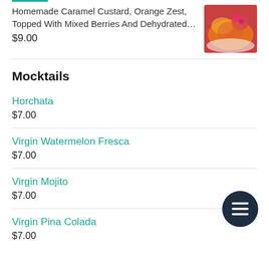Homemade Caramel Custard, Orange Zest, Topped With Mixed Berries And Dehydrated…
$9.00
Mocktails
Horchata
$7.00
Virgin Watermelon Fresca
$7.00
Virgin Mojito
$7.00
Virgin Pina Colada
$7.00